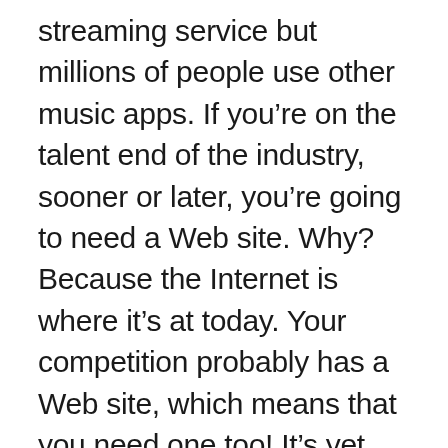streaming service but millions of people use other music apps. If you're on the talent end of the industry, sooner or later, you're going to need a Web site. Why? Because the Internet is where it's at today. Your competition probably has a Web site, which means that you need one too! It's yet another of the key tools for your success and a marketing tool you really can't do without. You may be surprised to hear that most film scoring is no longer done by a full orchestra sitting in a recording